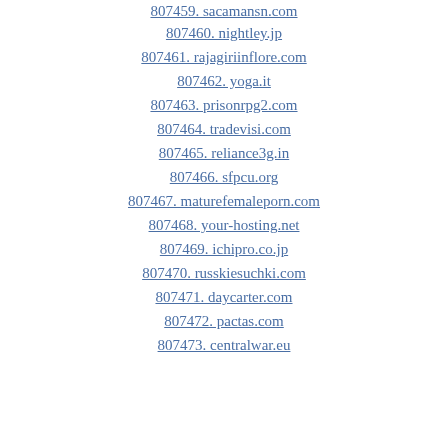807459. sacamansn.com
807460. nightley.jp
807461. rajagiriinflore.com
807462. yoga.it
807463. prisonrpg2.com
807464. tradevisi.com
807465. reliance3g.in
807466. sfpcu.org
807467. maturefemaleporn.com
807468. your-hosting.net
807469. ichipro.co.jp
807470. russkiesuchki.com
807471. daycarter.com
807472. pactas.com
807473. centralwar.eu